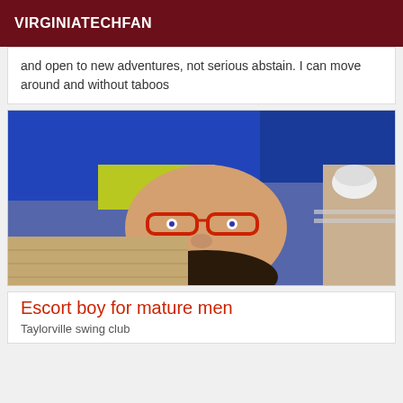VIRGINIATECHFAN
and open to new adventures, not serious abstain. I can move around and without taboos
[Figure (photo): Upside-down photo of a person wearing red glasses and a blue jacket with yellow collar, lying on a patterned surface with cups visible in the background]
Escort boy for mature men
Taylorville swing club